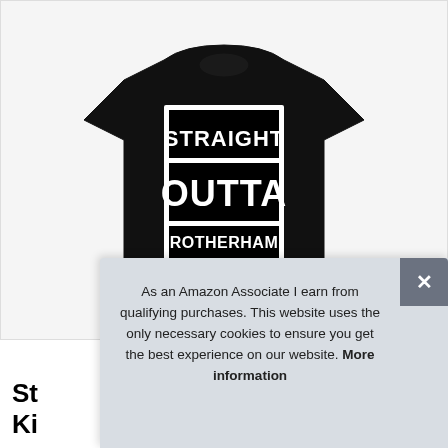[Figure (photo): Black t-shirt with white block text reading STRAIGHT OUTTA ROTHERHAM on white background product image]
Str... Ki...
As an Amazon Associate I earn from qualifying purchases. This website uses the only necessary cookies to ensure you get the best experience on our website. More information